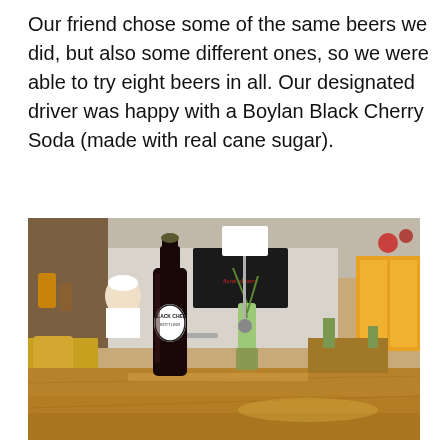Our friend chose some of the same beers we did, but also some different ones, so we were able to try eight beers in all. Our designated driver was happy with a Boylan Black Cherry Soda (made with real cane sugar).
[Figure (photo): A Boylan Black Cherry Soda bottle sitting on a long wooden bar/table inside a brewery or bar. In the background there are plants in a vase, a chalkboard, bar stools, yellow-orange doors, and a bartender in a white cap. Yellow beverages are visible on the left.]